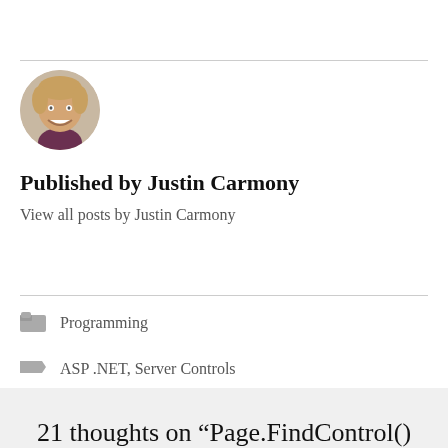[Figure (photo): Circular avatar photo of Justin Carmony, a smiling man with short blond hair]
Published by Justin Carmony
View all posts by Justin Carmony
Programming
ASP .NET, Server Controls
21 thoughts on “Page.FindControl()